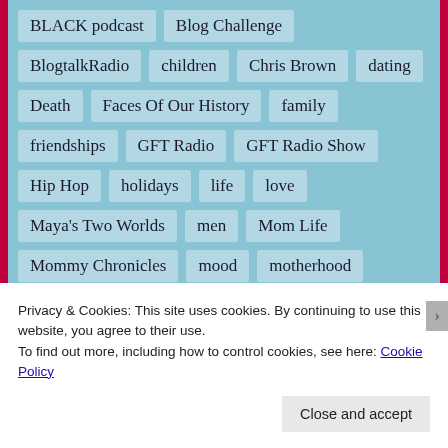BLACK podcast
Blog Challenge
BlogtalkRadio
children
Chris Brown
dating
Death
Faces Of Our History
family
friendships
GFT Radio
GFT Radio Show
Hip Hop
holidays
life
love
Maya's Two Worlds
men
Mom Life
Mommy Chronicles
mood
motherhood
music
Music Monday
Music Mondays
Privacy & Cookies: This site uses cookies. By continuing to use this website, you agree to their use.
To find out more, including how to control cookies, see here: Cookie Policy
Close and accept